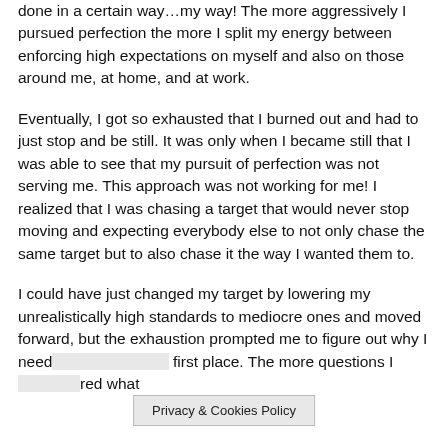done in a certain way…my way! The more aggressively I pursued perfection the more I split my energy between enforcing high expectations on myself and also on those around me, at home, and at work.
Eventually, I got so exhausted that I burned out and had to just stop and be still. It was only when I became still that I was able to see that my pursuit of perfection was not serving me. This approach was not working for me! I realized that I was chasing a target that would never stop moving and expecting everybody else to not only chase the same target but to also chase it the way I wanted them to.
I could have just changed my target by lowering my unrealistically high standards to mediocre ones and moved forward, but the exhaustion prompted me to figure out why I need[…] first place. The more questions I […]red what
Privacy & Cookies Policy